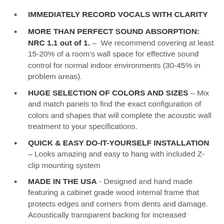IMMEDIATELY RECORD VOCALS WITH CLARITY
MORE THAN PERFECT SOUND ABSORPTION: NRC 1.1 out of 1. – We recommend covering at least 15-20% of a room's wall space for effective sound control for normal indoor environments (30-45% in problem areas).
HUGE SELECTION OF COLORS AND SIZES – Mix and match panels to find the exact configuration of colors and shapes that will complete the acoustic wall treatment to your specifications.
QUICK & EASY DO-IT-YOURSELF INSTALLATION – Looks amazing and easy to hang with included Z-clip mounting system
MADE IN THE USA - Designed and hand made featuring a cabinet grade wood internal frame that protects edges and corners from dents and damage. Acoustically transparent backing for increased